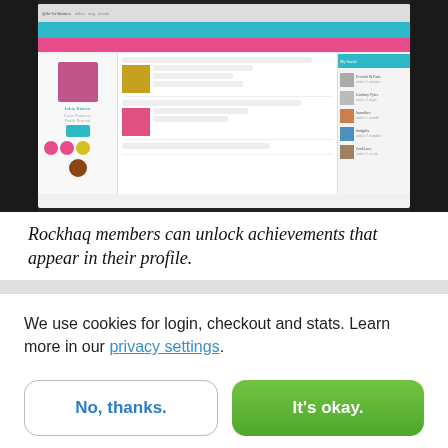[Figure (screenshot): Screenshot of a Rockhaq social network user profile page (@ki-ki-bianca) showing profile photo, navigation bar in teal, pink filter bar, posts with images, achievement badges, and sidebar with other users. Dark background flanking the screenshot.]
Rockhaq members can unlock achievements that appear in their profile.
We use cookies for login, checkout and stats. Learn more in our privacy settings.
No, thanks.
It's okay.